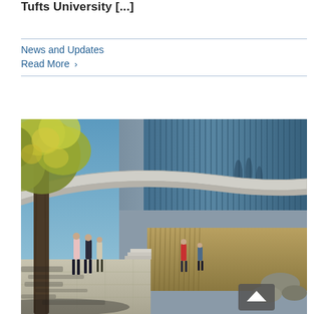Tufts University [...]
News and Updates
Read More >
[Figure (photo): Architectural rendering or photograph of a modern glass and stone building exterior with people walking on a sidewalk beside trees with yellow-green foliage, under a blue sky. The building features tall glass curtain walls and a curved canopy overhang. Shadows from trees fall on the pavement.]